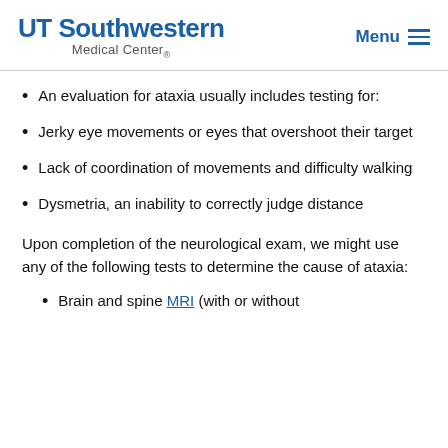UT Southwestern Medical Center. Menu
An evaluation for ataxia usually includes testing for:
Jerky eye movements or eyes that overshoot their target
Lack of coordination of movements and difficulty walking
Dysmetria, an inability to correctly judge distance
Upon completion of the neurological exam, we might use any of the following tests to determine the cause of ataxia:
Brain and spine MRI (with or without...